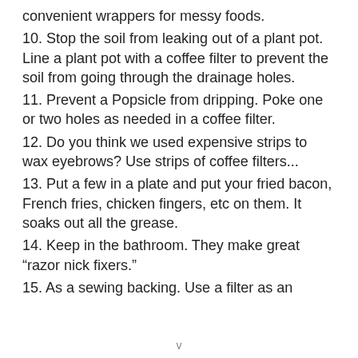convenient wrappers for messy foods.
10. Stop the soil from leaking out of a plant pot. Line a plant pot with a coffee filter to prevent the soil from going through the drainage holes.
11. Prevent a Popsicle from dripping. Poke one or two holes as needed in a coffee filter.
12. Do you think we used expensive strips to wax eyebrows? Use strips of coffee filters...
13. Put a few in a plate and put your fried bacon, French fries, chicken fingers, etc on them. It soaks out all the grease.
14. Keep in the bathroom. They make great “razor nick fixers.”
15. As a sewing backing. Use a filter as an
v